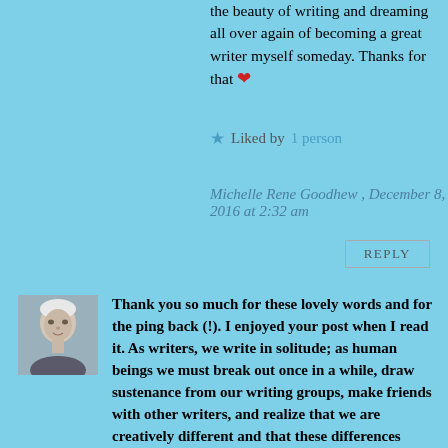the beauty of writing and dreaming all over again of becoming a great writer myself someday. Thanks for that ❤
★ Liked by 1 person
Michelle Rene Goodhew , December 8, 2016 at 2:32 am
REPLY
[Figure (photo): Avatar photo of an older person with white hair]
Thank you so much for these lovely words and for the ping back (!). I enjoyed your post when I read it. As writers, we write in solitude; as human beings we must break out once in a while, draw sustenance from our writing groups, make friends with other writers, and realize that we are creatively different and that these differences make us what we are. The younger version of myself that writes this blog is very happy with the older version of myself that urges him on to write. The blend of age and youth, all in the same body, is a very potent one. Bless you and may you always enjoy